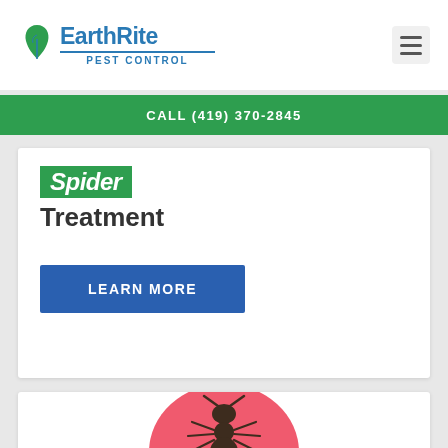[Figure (logo): EarthRite Pest Control logo with green leaf icon, blue text, and blue underline]
[Figure (other): Hamburger menu icon (three horizontal lines) in a gray rounded square]
CALL (419) 370-2845
Spider Treatment
LEARN MORE
[Figure (illustration): Ant icon on a pink/red circular background, showing top view of ant silhouette in dark color]